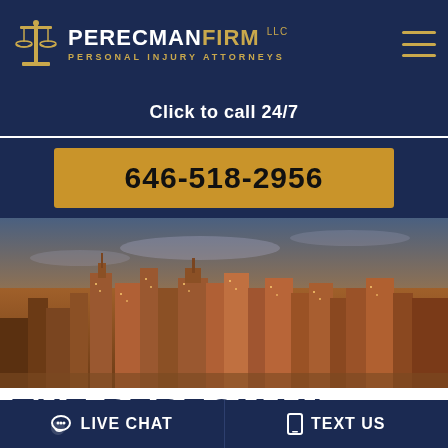[Figure (logo): Perecman Firm LLC logo with scales of justice icon, text PERECMANFIRM LLC and PERSONAL INJURY ATTORNEYS in gold and white on navy background]
Click to call 24/7
646-518-2956
[Figure (photo): New York City skyline at dusk/golden hour with skyscrapers]
THE PERECMAN
LIVE CHAT
TEXT US